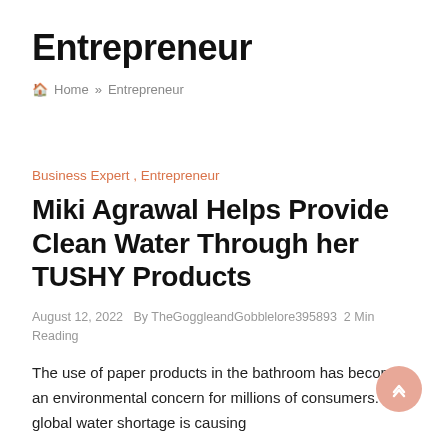Entrepreneur
🏠 Home » Entrepreneur
Business Expert , Entrepreneur
Miki Agrawal Helps Provide Clean Water Through her TUSHY Products
August 12, 2022   By TheGoggleandGobblelore395893   2 Min Reading
The use of paper products in the bathroom has become an environmental concern for millions of consumers. The global water shortage is causing